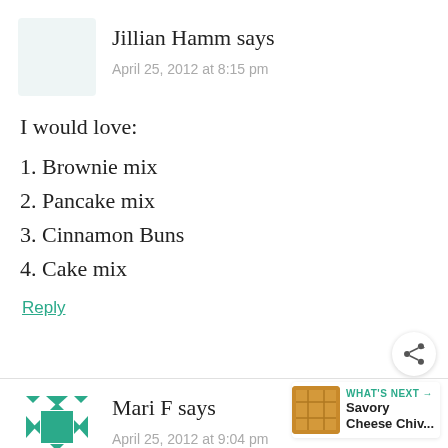Jillian Hamm says
April 25, 2012 at 8:15 pm
I would love:
1. Brownie mix
2. Pancake mix
3. Cinnamon Buns
4. Cake mix
Reply
Mari F says
April 25, 2012 at 9:04 pm
WHAT'S NEXT → Savory Cheese Chiv...